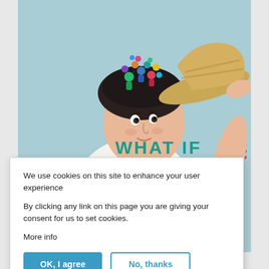[Figure (illustration): Colorful illustration of a person in a white shirt lifting a straw hat, revealing a head full of small people and activity figures. Background is light teal/blue. Text 'WHAT IF' appears in large teal bold letters. Faint teal text 'WE COULD TURN' and 'SEEKERS INTO' partially visible behind the cookie banner. A red dot/grid pattern appears on the right side.]
We use cookies on this site to enhance your user experience
By clicking any link on this page you are giving your consent for us to set cookies.
More info